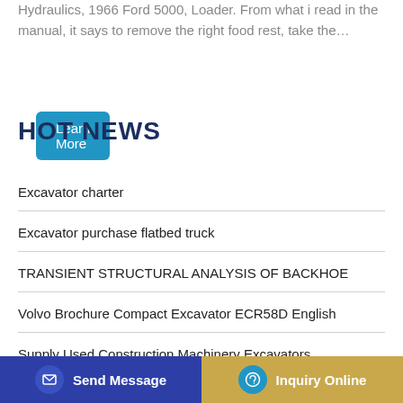Hydraulics, 1966 Ford 5000, Loader. From what i read in the manual, it says to remove the right food rest, take the…
Learn More
HOT NEWS
Excavator charter
Excavator purchase flatbed truck
TRANSIENT STRUCTURAL ANALYSIS OF BACKHOE
Volvo Brochure Compact Excavator ECR58D English
Supply Used Construction Machinery Excavators
Send Message | Inquiry Online